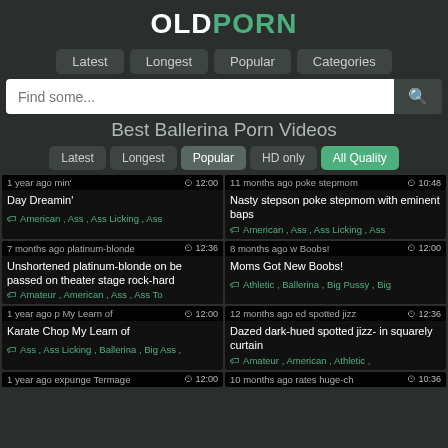OLDPORN
Latest | Longest | Popular | Categories
Find some...
Best Ballerina Porn Videos
Latest | Longest | Popular | HD only | All Quality
1 year ago min' 12:00
Day Dreamin'
American, Ass, Ass Licking, Ass
11 months ago poke stepmom 10:48
Nasty stepson poke stepmom with eminent baps
American, Ass, Ass Licking, Ass
7 months ago platinum-blonde 12:36
Unshortened platinum-blonde on be passed on theater stage rock-hard
Amateur, American, Ass, Ass To
8 months ago w Boobs! 12:00
Moms Got New Boobs!
Athletic, Ballerina, Big Pussy, Big
1 year ago p My Learn of 12:00
Karate Chop My Learn of
Ass, Ass Licking, Ballerina, Big Ass,
12 months ago ed spotted jizz 12:36
Dazed dark-hued spotted jizz- in squarely curtain
Amateur, American, Athletic,
1 year ago expunge Termage 12:00
10 months ago rates huge-ch 10:36